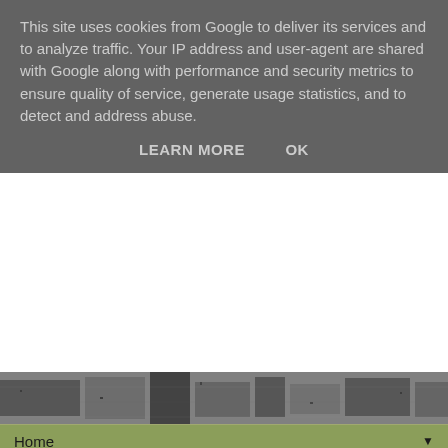This site uses cookies from Google to deliver its services and to analyze traffic. Your IP address and user-agent are shared with Google along with performance and security metrics to ensure quality of service, generate usage statistics, and to detect and address abuse.
LEARN MORE    OK
[Figure (photo): Black and white header photograph strip showing buildings/architectural scene]
Home ▼
Wednesday, 22 June 2016
2016 #12 Fabric Heart {by Helen Chilton}
2016 Topic 12: Fabric
Hi everyone Helen here. Tonight I'd like to share with you a post about fabric.